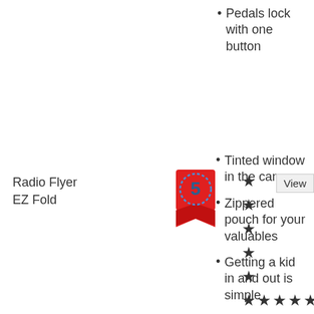Pedals lock with one button
Radio Flyer EZ Fold
[Figure (illustration): Red ribbon badge with number 5 in center, dashed blue circle border]
[Figure (illustration): Broken image placeholder icon]
[Figure (illustration): Five individual black stars arranged vertically, followed by a row of five stars horizontally]
Tinted window in the canopy
Zippered pouch for your valuables
Getting a kid in and out is simple
View